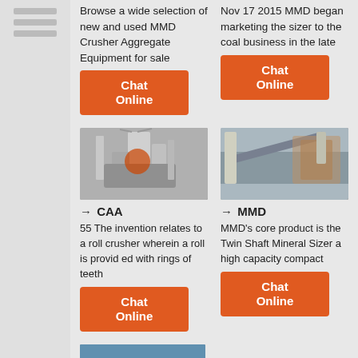[Figure (other): Navigation sidebar with horizontal line icons]
Browse a wide selection of new and used MMD Crusher Aggregate Equipment for sale
Nov 17 2015  MMD began marketing the sizer to the coal business in the late
Chat Online
Chat Online
[Figure (photo): Industrial mill/crusher equipment with large machinery, pipes and silos]
[Figure (photo): Industrial conveyor belt and mining equipment at a quarry site]
→ CAA
→ MMD
55 The invention relates to a roll crusher wherein a roll is provid ed with rings of teeth
MMD's core product is the Twin Shaft Mineral Sizer a high capacity compact
Chat Online
Chat Online
[Figure (photo): Orange mining tunnel boring machines at an outdoor quarry site with mountains in background]